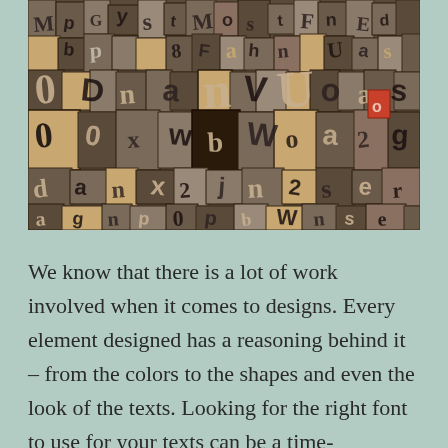[Figure (photo): A large collection of wooden and metal letterpress type blocks scattered together, showing various letters, numbers, and characters in different sizes and orientations.]
We know that there is a lot of work involved when it comes to designs. Every element designed has a reasoning behind it – from the colors to the shapes and even the look of the texts. Looking for the right font to use for your texts can be a time-consuming task. Fonts, in the…